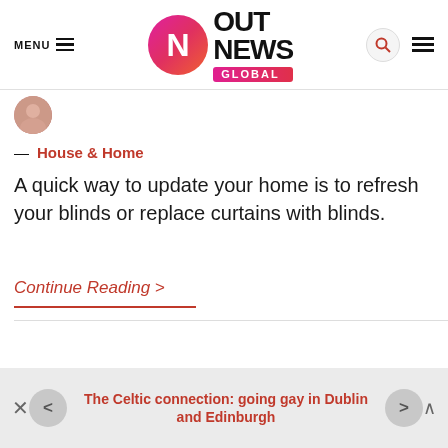[Figure (logo): Out News Global logo with pink/red gradient circle containing white N, bold OUT NEWS text, and GLOBAL pill badge]
— House & Home
A quick way to update your home is to refresh your blinds or replace curtains with blinds.
Continue Reading >
The Celtic connection: going gay in Dublin and Edinburgh